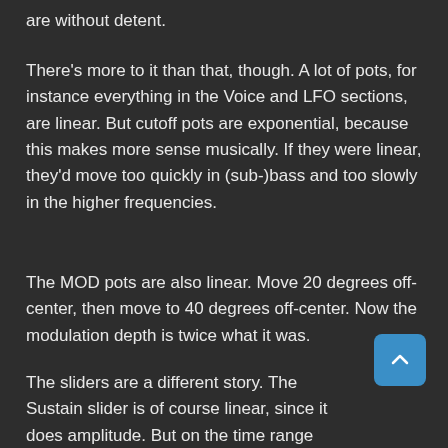are without detent.
There's more to it than that, though. A lot of pots, for instance everything in the Voice and LFO sections, are linear. But cutoff pots are exponential, because this makes more sense musically. If they were linear, they'd move too quickly in (sub-)bass and too slowly in the higher frequencies.
The MOD pots are also linear. Move 20 degrees off-center, then move to 40 degrees off-center. Now the modulation depth is twice what it was.
The sliders are a different story. The Sustain slider is of course linear, since it does amplitude. But on the time range sliders (A,D,R) the musician expects to have smooth relative